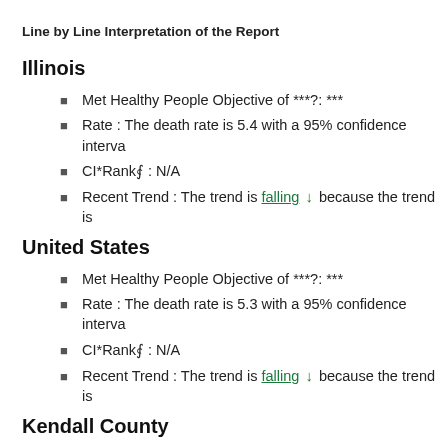Line by Line Interpretation of the Report
Illinois
Met Healthy People Objective of ***?: ***
Rate : The death rate is 5.4 with a 95% confidence interva
CI*Rank⋒ : N/A
Recent Trend : The trend is falling ↓ because the trend is
United States
Met Healthy People Objective of ***?: ***
Rate : The death rate is 5.3 with a 95% confidence interva
CI*Rank⋒ : N/A
Recent Trend : The trend is falling ↓ because the trend is
Kendall County